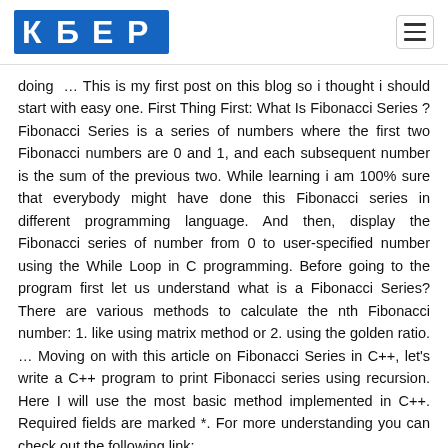[Logo: КБЕР] [Hamburger menu icon]
doing … This is my first post on this blog so i thought i should start with easy one. First Thing First: What Is Fibonacci Series ?Fibonacci Series is a series of numbers where the first two Fibonacci numbers are 0 and 1, and each subsequent number is the sum of the previous two. While learning i am 100% sure that everybody might have done this Fibonacci series in different programming language. And then, display the Fibonacci series of number from 0 to user-specified number using the While Loop in C programming. Before going to the program first let us understand what is a Fibonacci Series? There are various methods to calculate the nth Fibonacci number: 1. like using matrix method or 2. using the golden ratio. … Moving on with this article on Fibonacci Series in C++, let's write a C++ program to print Fibonacci series using recursion. Here I will use the most basic method implemented in C++. Required fields are marked *. For more understanding you can check out the following link: